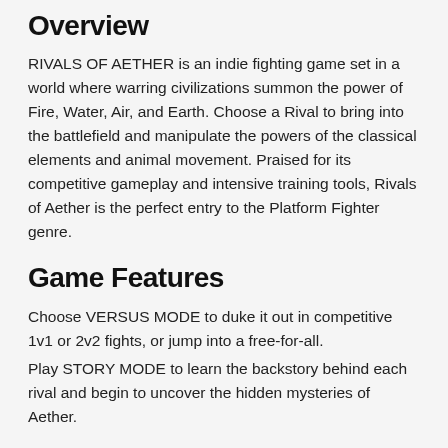Overview
RIVALS OF AETHER is an indie fighting game set in a world where warring civilizations summon the power of Fire, Water, Air, and Earth. Choose a Rival to bring into the battlefield and manipulate the powers of the classical elements and animal movement. Praised for its competitive gameplay and intensive training tools, Rivals of Aether is the perfect entry to the Platform Fighter genre.
Game Features
Choose VERSUS MODE to duke it out in competitive 1v1 or 2v2 fights, or jump into a free-for-all.
Play STORY MODE to learn the backstory behind each rival and begin to uncover the hidden mysteries of Aether.